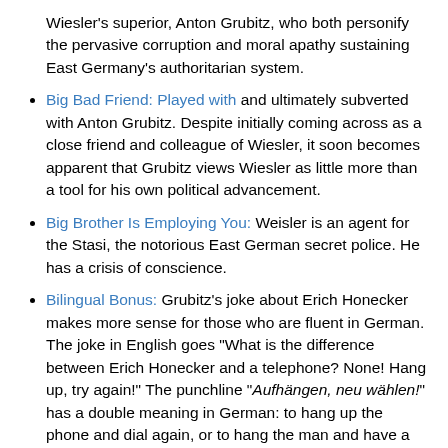Wiesler's superior, Anton Grubitz, who both personify the pervasive corruption and moral apathy sustaining East Germany's authoritarian system.
Big Bad Friend: Played with and ultimately subverted with Anton Grubitz. Despite initially coming across as a close friend and colleague of Wiesler, it soon becomes apparent that Grubitz views Wiesler as little more than a tool for his own political advancement.
Big Brother Is Employing You: Weisler is an agent for the Stasi, the notorious East German secret police. He has a crisis of conscience.
Bilingual Bonus: Grubitz's joke about Erich Honecker makes more sense for those who are fluent in German. The joke in English goes "What is the difference between Erich Honecker and a telephone? None! Hang up, try again!" The punchline "Aufhängen, neu wählen!" has a double meaning in German: to hang up the phone and dial again, or to hang the man and have a new election. A